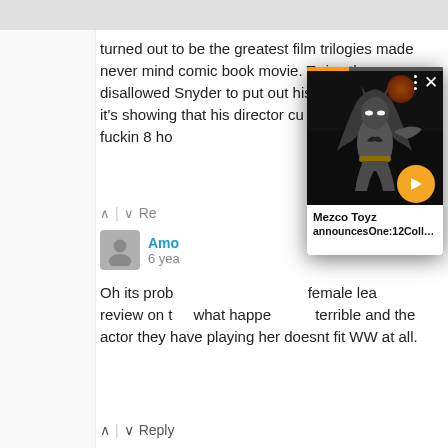turned out to be the greatest film trilogies made never mind comic book movie. Twice they disallowed Snyder to put out his vision and twice it's showing that his director cut run time is fuckin 8 ho
↑ | ↓ Re
Amo
6 yea
Oh its prob female lead review on t what happe terrible and the actor they have playing her doesnt fit WW at all.
↑ | ↓ Reply
Mark ok0rdih
[Figure (screenshot): Video popup card showing Batman action figure in dark scene with progress bar, three-dots menu, close X button, play button. Caption reads: Mezco Toyz announcesOne:12CollectiveG...]